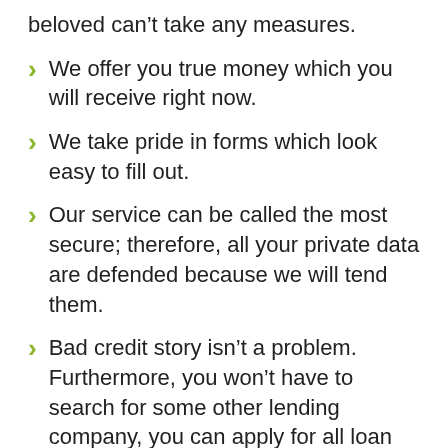beloved can't take any measures.
We offer you true money which you will receive right now.
We take pride in forms which look easy to fill out.
Our service can be called the most secure; therefore, all your private data are defended because we will tend them.
Bad credit story isn't a problem. Furthermore, you won't have to search for some other lending company, you can apply for all loan types at the website.
Superiority is that we are open on the 24-hour basis. It means that you will read an answer on the question you are interested in wherever you want, not considering the mess with time zones. Just make